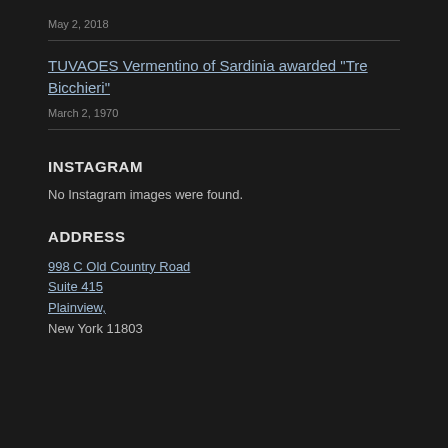May 2, 2018
TUVAOES Vermentino of Sardinia awarded “Tre Bicchieri”
March 2, 1970
INSTAGRAM
No Instagram images were found.
ADDRESS
998 C Old Country Road
Suite 415
Plainview,
New York 11803